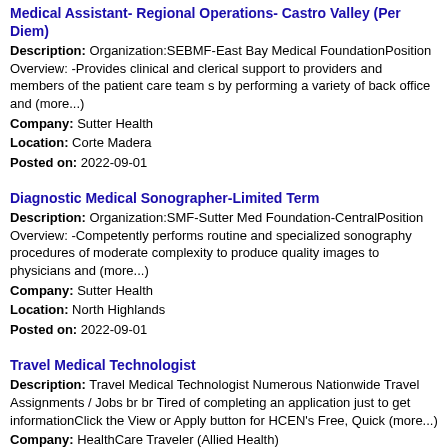Medical Assistant- Regional Operations- Castro Valley (Per Diem)
Description: Organization:SEBMF-East Bay Medical FoundationPosition Overview: -Provides clinical and clerical support to providers and members of the patient care team s by performing a variety of back office and (more...)
Company: Sutter Health
Location: Corte Madera
Posted on: 2022-09-01
Diagnostic Medical Sonographer-Limited Term
Description: Organization:SMF-Sutter Med Foundation-CentralPosition Overview: -Competently performs routine and specialized sonography procedures of moderate complexity to produce quality images to physicians and (more...)
Company: Sutter Health
Location: North Highlands
Posted on: 2022-09-01
Travel Medical Technologist
Description: Travel Medical Technologist Numerous Nationwide Travel Assignments / Jobs br br Tired of completing an application just to get informationClick the View or Apply button for HCEN's Free, Quick (more...)
Company: HealthCare Traveler (Allied Health)
Location: Santa Rosa
Posted on: 2022-09-01